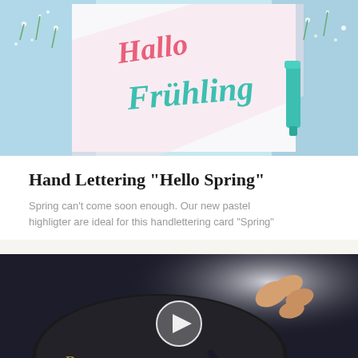[Figure (photo): Hand lettering card showing 'Hallo Frühling' (Hello Spring) in pink and teal brush lettering, with flowers and a teal marker visible]
Hand Lettering "Hello Spring"
Spring can't come soon enough. Our new pastel highligter are ideal for this handlettering card "Spring"
[Figure (photo): Video thumbnail showing a hand holding a dark pen/marker writing on a dark surface with gold lettering, with a play button overlay]